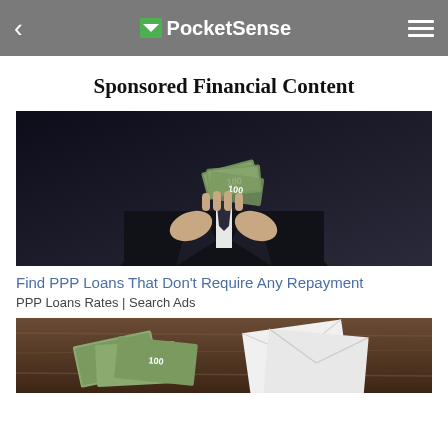PocketSense
Sponsored Financial Content
[Figure (photo): Person in suit holding a fan of US dollar bills cash]
Find PPP Loans That Don't Require Any Repayment
PPP Loans Rates | Search Ads
[Figure (photo): US dollar bills and white envelopes on a wooden table]